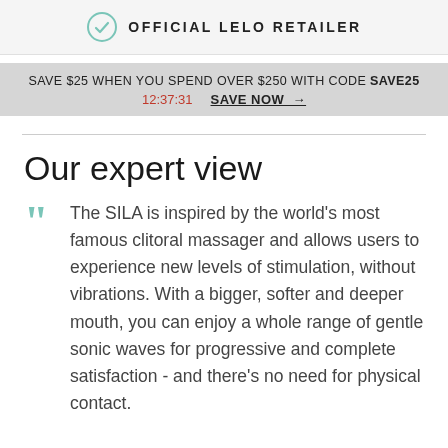OFFICIAL LELO RETAILER
SAVE $25 WHEN YOU SPEND OVER $250 WITH CODE SAVE25
12:37:31   SAVE NOW →
Our expert view
The SILA is inspired by the world's most famous clitoral massager and allows users to experience new levels of stimulation, without vibrations. With a bigger, softer and deeper mouth, you can enjoy a whole range of gentle sonic waves for progressive and complete satisfaction - and there's no need for physical contact.